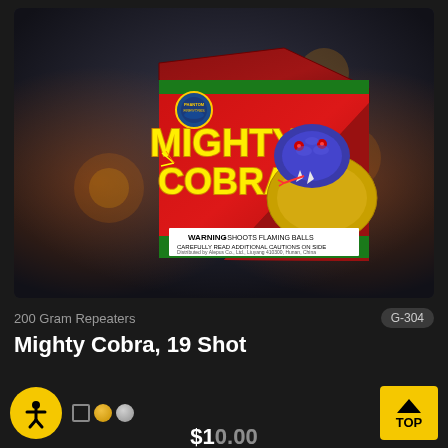[Figure (photo): Phantom Fireworks 'Mighty Cobra, 19 Shot' 200 gram repeater fireworks product box. Red box with cobra snake image and warning label reading 'WARNING - SHOOTS FLAMING BALLS - CAREFULLY READ ADDITIONAL CAUTIONS ON SIDE'. Displayed on dark background.]
200 Gram Repeaters
G-304
Mighty Cobra, 19 Shot